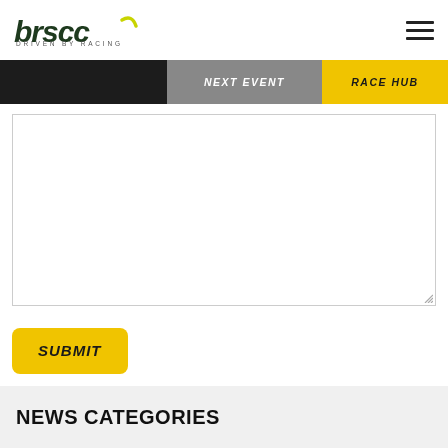brscc DRIVEN BY RACING
NEXT EVENT | RACE HUB
[Figure (screenshot): Empty textarea input box for user text entry]
SUBMIT
NEWS CATEGORIES